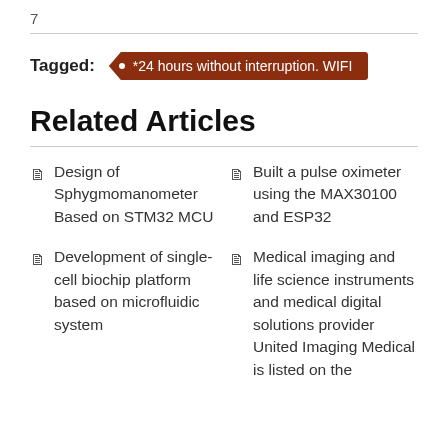7
Tagged: *24 hours without interruption. WIFI
Related Articles
Design of Sphygmomanometer Based on STM32 MCU
Built a pulse oximeter using the MAX30100 and ESP32
Development of single-cell biochip platform based on microfluidic system
Medical imaging and life science instruments and medical digital solutions provider United Imaging Medical is listed on the